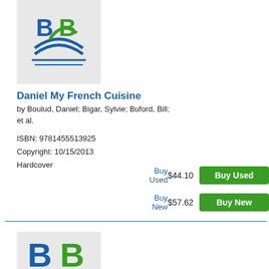[Figure (logo): BookByte logo - blue and green stylized B with book/wave graphic on light gray background, partially cropped at top]
Daniel My French Cuisine
by Boulud, Daniel; Bigar, Sylvie; Buford, Bill; et al.
ISBN: 9781455513925
Copyright: 10/15/2013
Hardcover
Buy Used    $44.10    Buy Used
Buy New    $57.62    Buy New
[Figure (logo): BookByte logo - large blue B and green B letters on light gray background, partially cropped at bottom]